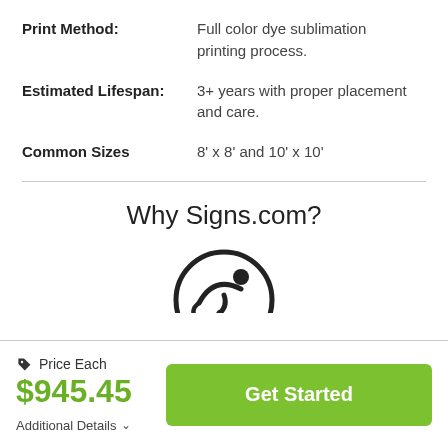Print Method: Full color dye sublimation printing process.
Estimated Lifespan: 3+ years with proper placement and care.
Common Sizes 8' x 8' and 10' x 10'
Why Signs.com?
[Figure (illustration): A circular icon showing a person swimming or in motion, black outline on white background, partially cropped at bottom.]
Price Each $945.45
Additional Details